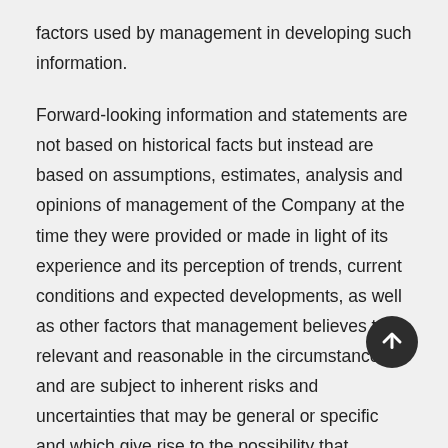factors used by management in developing such information.
Forward-looking information and statements are not based on historical facts but instead are based on assumptions, estimates, analysis and opinions of management of the Company at the time they were provided or made in light of its experience and its perception of trends, current conditions and expected developments, as well as other factors that management believes to be relevant and reasonable in the circumstances and are subject to inherent risks and uncertainties that may be general or specific and which give rise to the possibility that expectations, forecasts, predictions, projections or conclusions will not prove to be accurate, that assumptions may not be correct and that objectives, strategic goals and